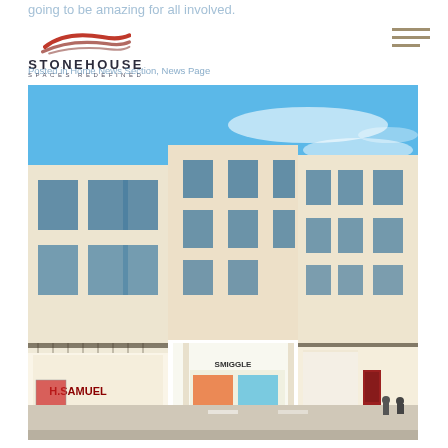going to be amazing for all involved.
STONEHOUSE SPACES REDEFINED
Posted in Home News Section, News Page
[Figure (photo): Street-level photo of a Georgian/Regency-era cream-coloured commercial building in Leamington Spa. Ground floor shows retail units including H. Samuel and Smiggle. Upper floors have sash windows and wrought-iron balconies. Blue sky with wispy clouds above.]